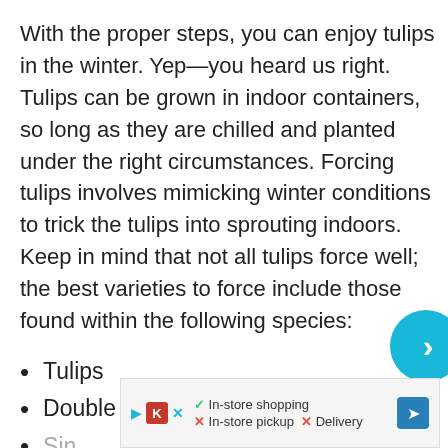With the proper steps, you can enjoy tulips in the winter. Yep—you heard us right. Tulips can be grown in indoor containers, so long as they are chilled and planted under the right circumstances. Forcing tulips involves mimicking winter conditions to trick the tulips into sprouting indoors. Keep in mind that not all tulips force well; the best varieties to force include those found within the following species:
Tulips
Double early tulips
Sin[gle early tulips — partially obscured]
Tri[umph tulips — partially obscured]